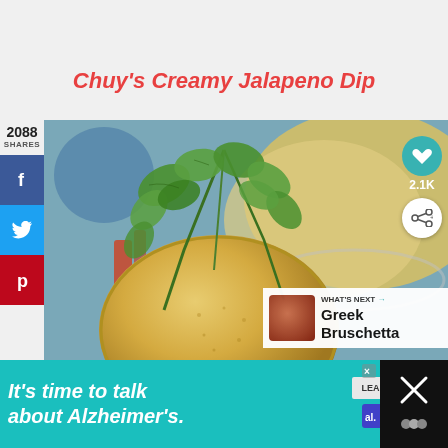Chuy's Creamy Jalapeno Dip
[Figure (photo): Close-up photo of a round cracker/chip with cilantro herb garnish and a bowl of creamy jalapeno dip in the background]
2088
SHARES
[Figure (infographic): Social sharing sidebar with Facebook, Twitter, and Pinterest buttons]
[Figure (infographic): What's Next banner showing Greek Bruschetta thumbnail]
WHAT'S NEXT → Greek Bruschetta
[Figure (infographic): Advertisement banner: It's time to talk about Alzheimer's. Learn More button with Alzheimer's Association logo]